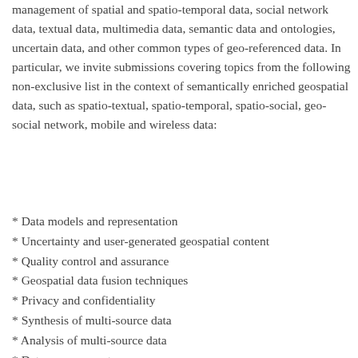management of spatial and spatio-temporal data, social network data, textual data, multimedia data, semantic data and ontologies, uncertain data, and other common types of geo-referenced data. In particular, we invite submissions covering topics from the following non-exclusive list in the context of semantically enriched geospatial data, such as spatio-textual, spatio-temporal, spatio-social, geo-social network, mobile and wireless data:
* Data models and representation
* Uncertainty and user-generated geospatial content
* Quality control and assurance
* Geospatial data fusion techniques
* Privacy and confidentiality
* Synthesis of multi-source data
* Analysis of multi-source data
* Data management
* Data stream management and mobile computing
* ...